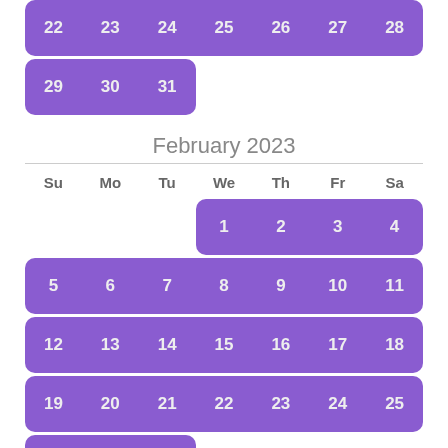[Figure (other): Calendar showing end of January 2023 (days 22-31) and full February 2023 calendar grid with purple highlighted date cells. Days of week headers: Su Mo Tu We Th Fr Sa. February dates: 1-4 (Wed-Sat), 5-11, 12-18, 19-25, 26-28.]